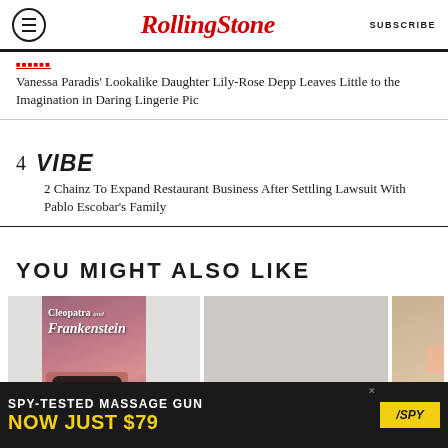RollingStone | SUBSCRIBE
Vanessa Paradis' Lookalike Daughter Lily-Rose Depp Leaves Little to the Imagination in Daring Lingerie Pic
4 VIBE
2 Chainz To Expand Restaurant Business After Settling Lawsuit With Pablo Escobar's Family
YOU MIGHT ALSO LIKE
[Figure (photo): Book cover for Cleopatra and Frankenstein with a painted face]
[Figure (photo): Partial image on right side]
[Figure (other): Advertisement: SPY-TESTED MASSAGE GUN NOW JUST $79 with SPY logo]